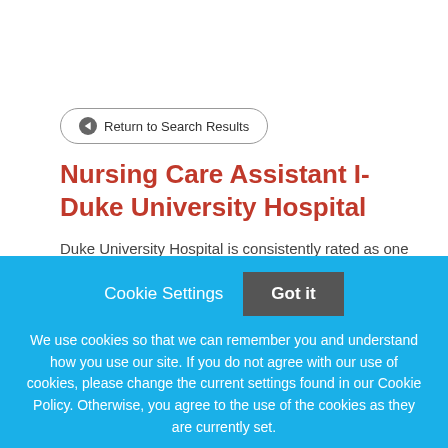Return to Search Results
Nursing Care Assistant I-Duke University Hospital
Duke University Hospital is consistently rated as one of
Cookie Settings
Got it
We use cookies so that we can remember you and understand how you use our site. If you do not agree with our use of cookies, please change the current settings found in our Cookie Policy. Otherwise, you agree to the use of the cookies as they are currently set.